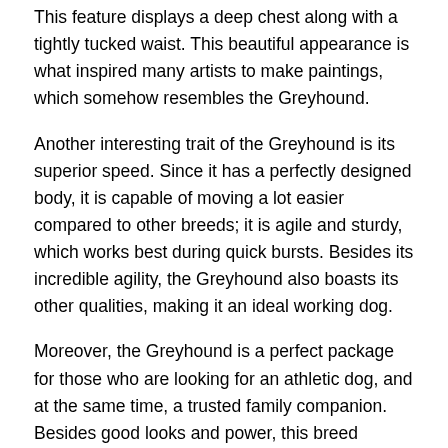This feature displays a deep chest along with a tightly tucked waist. This beautiful appearance is what inspired many artists to make paintings, which somehow resembles the Greyhound.
Another interesting trait of the Greyhound is its superior speed. Since it has a perfectly designed body, it is capable of moving a lot easier compared to other breeds; it is agile and sturdy, which works best during quick bursts. Besides its incredible agility, the Greyhound also boasts its other qualities, making it an ideal working dog.
Moreover, the Greyhound is a perfect package for those who are looking for an athletic dog, and at the same time, a trusted family companion. Besides good looks and power, this breed showcases a wonderful nature that is sure to attract dog lovers. This dog is gentle despite its incredible strength; it is known for being an independent dog capable of working on various tasks, making sure to get the job done.